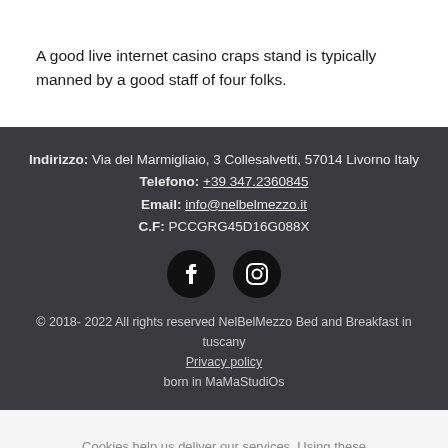A good live internet casino craps stand is typically manned by a good staff of four folks.
Indirizzo: Via del Marmigliaio, 3 Collesalvetti, 57014 Livorno Italy
Telefono: +39 347.2360845
Email: info@nelbelmezzo.it
C.F: PCCGRG45D16G088X
[Figure (other): Two social media icon circles: Facebook and Instagram logos on black circular backgrounds]
© 2018- 2022 All rights reserved NelBelMezzo Bed and Breakfast in tuscany
Privacy policy
born in MaMaStudiOs
Cookies help us deliver our services. Using these